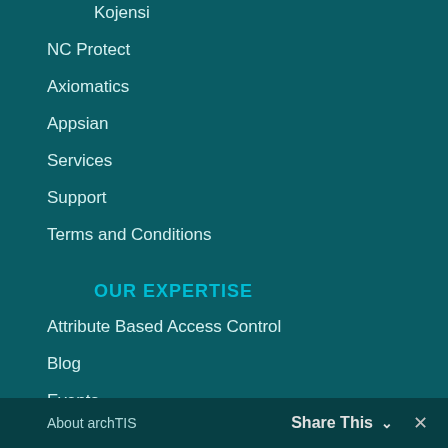Kojensi
NC Protect
Axiomatics
Appsian
Services
Support
Terms and Conditions
OUR EXPERTISE
Attribute Based Access Control
Blog
Events
In The News
Press Releases
Resources
COMPANY
About archTIS
Executive Team
Share This ∨ ✕